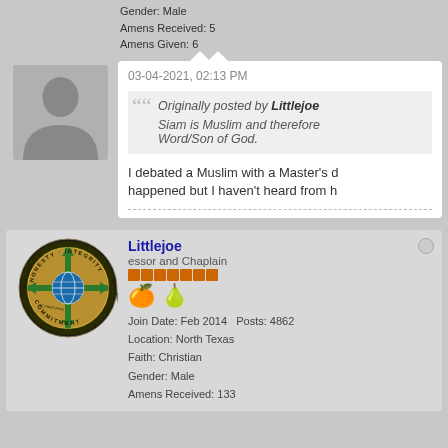Gender: Male
Amens Received: 5
Amens Given: 6
[Figure (illustration): Gray silhouette avatar of a person (default user profile picture)]
03-04-2021, 02:13 PM
Originally posted by Littlejoe
Siam is Muslim and therefore Word/Son of God.
I debated a Muslim with a Master's d happened but I haven't heard from h
Littlejoe
essor and Chaplain
[Figure (logo): International Fellowship of Chaplains coin/medallion with text HONESTY, INTEGRITY, COMMITMENT around the edge and a cross/globe in the center]
Join Date: Feb 2014   Posts: 4862
Location: North Texas
Faith: Christian
Gender: Male
Amens Received: 133